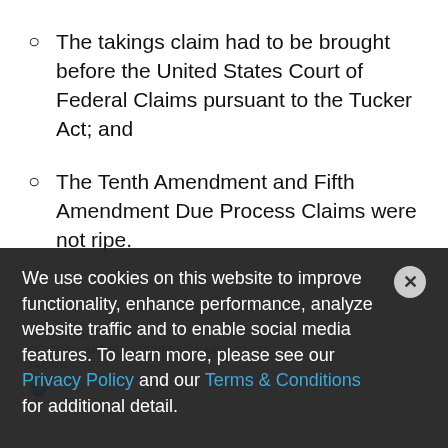The takings claim had to be brought before the United States Court of Federal Claims pursuant to the Tucker Act; and
The Tenth Amendment and Fifth Amendment Due Process Claims were not ripe.
We use cookies on this website to improve functionality, enhance performance, analyze website traffic and to enable social media features. To learn more, please see our Privacy Policy and our Terms & Conditions for additional detail.